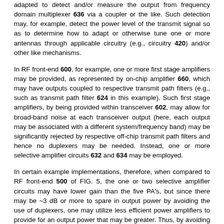adapted to detect and/or measure the output from frequency domain multiplexer 636 via a coupler or the like. Such detection may, for example, detect the power level of the transmit signal so as to determine how to adapt or otherwise tune one or more antennas through applicable circuitry (e.g., circuitry 420) and/or other like mechanisms.
In RF front-end 600, for example, one or more first stage amplifiers may be provided, as represented by on-chip amplifier 660, which may have outputs coupled to respective transmit path filters (e.g., such as transmit path filter 624 in this example). Such first stage amplifiers, by being provided within transceiver 602, may allow for broad-band noise at each transceiver output (here, each output may be associated with a different system/frequency band) may be significantly rejected by respective off-chip transmit path filters and hence no duplexers may be needed. Instead, one or more selective amplifier circuits 632 and 634 may be employed.
In certain example implementations, therefore, when compared to RF front-end 500 of FIG. 5, the one or two selective amplifier circuits may have lower gain than the five PA's, but since there may be ~3 dB or more to spare in output power by avoiding the use of duplexers, one may utilize less efficient power amplifiers to provide for an output power that may be greater. Thus, by avoiding the use of duplexers one may reduce the number of power amplifiers from five to one or two that provide for a broadband frequency response to cover all five narrow band power amplifiers frequency bands.